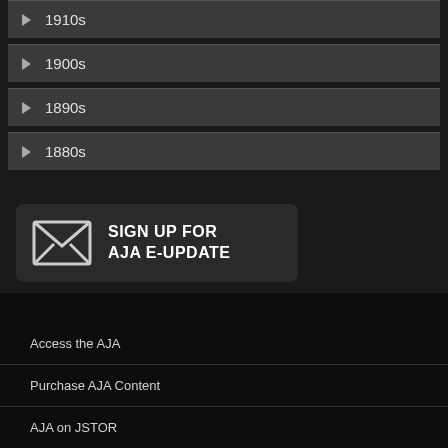1910s
1900s
1890s
1880s
[Figure (infographic): Sign up for AJA E-Update button with envelope icon]
Access the AJA
Purchase AJA Content
AJA on JSTOR